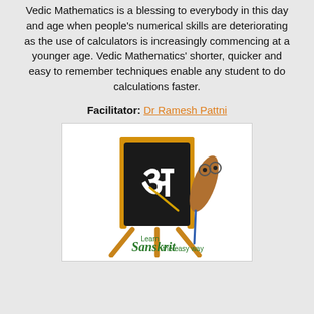Vedic Mathematics is a blessing to everybody in this day and age when people's numerical skills are deteriorating as the use of calculators is increasingly commencing at a younger age. Vedic Mathematics' shorter, quicker and easy to remember techniques enable any student to do calculations faster.
Facilitator: Dr Ramesh Pattni
[Figure (illustration): Cartoon illustration of a blackboard on an easel with the Devanagari letter 'अ' in white on black, and a cartoon quill pen with glasses beside it. Below reads 'Learn Sanskrit the easy way' in green text.]